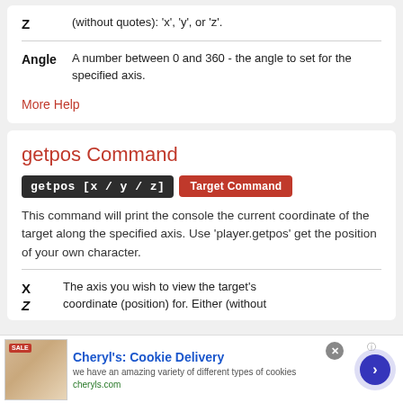| Parameter | Description |
| --- | --- |
| Z | (without quotes): 'x', 'y', or 'z'. |
| Angle | A number between 0 and 360 - the angle to set for the specified axis. |
More Help
getpos Command
getpos [x / y / z]  Target Command
This command will print the console the current coordinate of the target along the specified axis. Use 'player.getpos' get the position of your own character.
| Parameter | Description |
| --- | --- |
| X | The axis you wish to view the target's |
| Z | coordinate (position) for. Either (without |
[Figure (infographic): Advertisement banner for Cheryl's Cookie Delivery showing a cookie image, blue title text, gray description, green website link, navigation arrow button, and close button.]